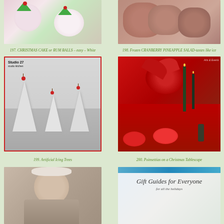[Figure (photo): Christmas cake or rum balls – white chocolate dipped cupcakes with green holly decorations]
197. CHRISTMAS CAKE or RUM BALLS – easy – White chocolate dipped
[Figure (photo): Frozen cranberry pineapple salad closeup]
198. Frozen CRANBERRY PINEAPPLE SALAD-tastes like ice cream-EASY
[Figure (photo): Artificial icing trees - white cone-shaped decorative Christmas trees with red berries on top, Studio 27 label]
199. Artificial Icing Trees
[Figure (photo): Poinsettias on a Christmas tablescape with red tablecloth, green candles, and holiday plates]
200. Poinsettias on a Christmas Tablescape
[Figure (photo): Person wearing a headband]
[Figure (photo): Gift Guides for Everyone text overlay on light background]